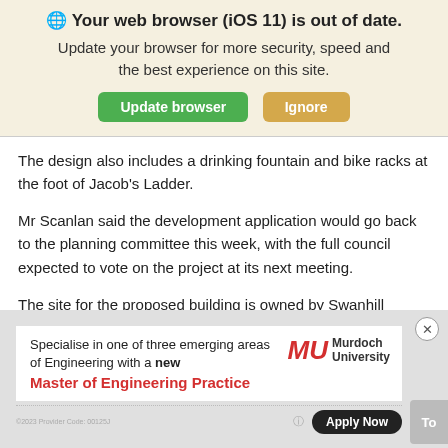🌐 Your web browser (iOS 11) is out of date. Update your browser for more security, speed and the best experience on this site.
The design also includes a drinking fountain and bike racks at the foot of Jacob's Ladder.
Mr Scanlan said the development application would go back to the planning committee this week, with the full council expected to vote on the project at its next meeting.
The site for the proposed building is owned by Swanhill Enterprises Pty Ltd, which is part-owned by the Di Latte family
[Figure (infographic): Murdoch University advertisement: 'Specialise in one of three emerging areas of Engineering with a new Master of Engineering Practice' with Apply Now button and Murdoch University logo]